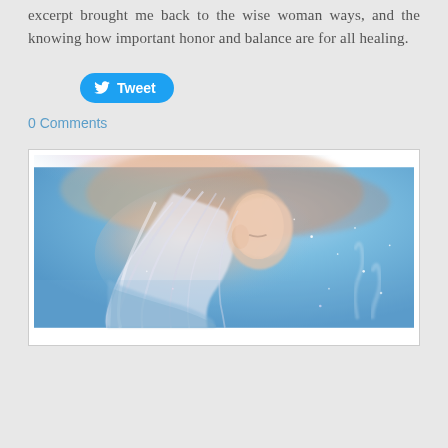excerpt brought me back to the wise woman ways, and the knowing how important honor and balance are for all healing.
Tweet
0 Comments
[Figure (illustration): A dreamy fantasy illustration of a woman with long flowing white hair, head tilted back, in soft blue and warm pastel tones with a mystical, ethereal atmosphere.]